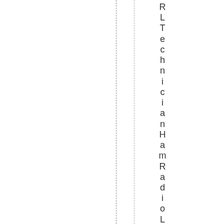RLTechnicianHamRadioLicenseMan